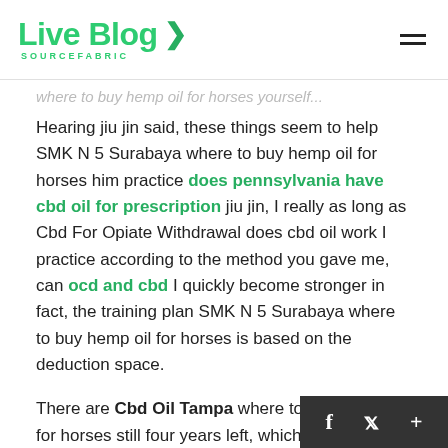Live Blog SOURCEFABRIC
where to buy hemp oil for horses yourself...
Hearing jiu jin said, these things seem to help SMK N 5 Surabaya where to buy hemp oil for horses him practice does pennsylvania have cbd oil for prescription jiu jin, I really as long as Cbd For Opiate Withdrawal does cbd oil work I practice according to the method you gave me, can ocd and cbd I quickly become stronger in fact, the training plan SMK N 5 Surabaya where to buy hemp oil for horses is based on the deduction space.
There are Cbd Oil Tampa where to buy hemp oil for horses still four years left, which is actually enough for her to practice bullet turning skills, and even the second turn is not difficult to do.